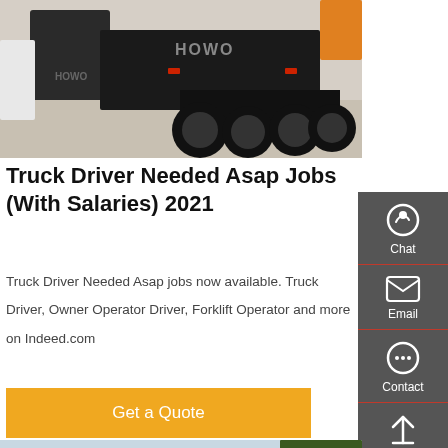[Figure (photo): Rear view of HOWO brand truck/tractor unit parked in a yard, showing rear axles and tires]
Truck Driver Needed Asap Jobs (With Salaries) 2021
Truck Driver Needed Asap jobs now available. Truck Driver, Owner Operator Driver, Forklift Operator and more on Indeed.com
Get a Quote
[Figure (photo): Truck with blue cab on a road with trees in background under a light sky]